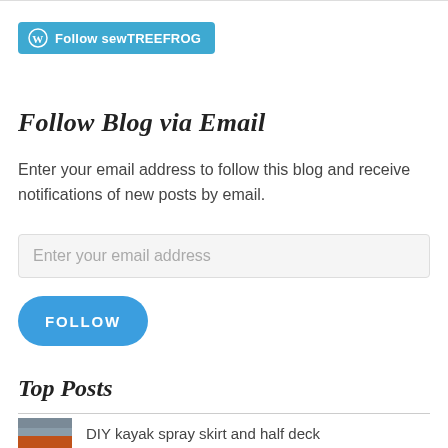[Figure (logo): WordPress Follow button with W logo and text 'Follow sewTREEFROG' on teal/blue background]
Follow Blog via Email
Enter your email address to follow this blog and receive notifications of new posts by email.
[Figure (screenshot): Email input field with placeholder text 'Enter your email address']
[Figure (screenshot): Blue rounded FOLLOW button]
Top Posts
DIY kayak spray skirt and half deck